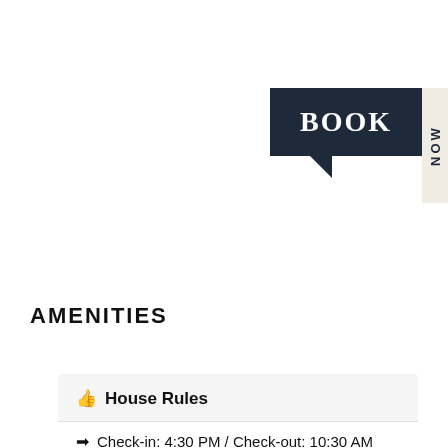[Figure (illustration): Dark navy 'BOOK' button with speech bubble arrow pointing down-right, and vertical 'NOW' tab on the right side]
AMENITIES
👍 House Rules
➡ Check-in: 4:30 PM / Check-out: 10:30 AM